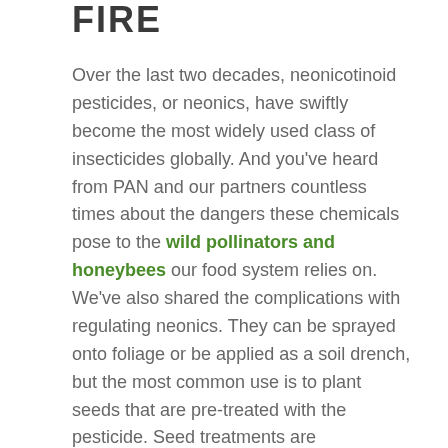FIRE
Over the last two decades, neonicotinoid pesticides, or neonics, have swiftly become the most widely used class of insecticides globally. And you've heard from PAN and our partners countless times about the dangers these chemicals pose to the wild pollinators and honeybees our food system relies on.
We've also shared the complications with regulating neonics. They can be sprayed onto foliage or be applied as a soil drench, but the most common use is to plant seeds that are pre-treated with the pesticide. Seed treatments are